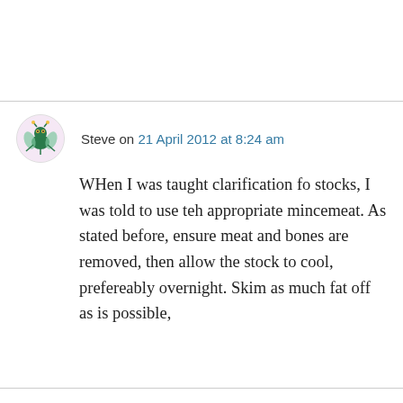Steve on 21 April 2012 at 8:24 am
WHen I was taught clarification fo stocks, I was told to use teh appropriate mincemeat. As stated before, ensure meat and bones are removed, then allow the stock to cool, prefereably overnight. Skim as much fat off as is possible,
Privacy & Cookies: This site uses cookies. By continuing to use this website, you agree to their use. To find out more, including how to control cookies, see here: Cookie Policy
Close and accept
now an do NOT disturb the stock. Allow it to hot